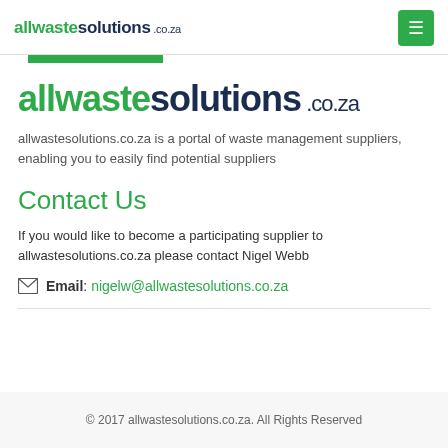allwastesolutions .co.za
[Figure (logo): Green horizontal bar divider below header]
allwastesolutions .co.za
allwastesolutions.co.za is a portal of waste management suppliers, enabling you to easily find potential suppliers
Contact Us
If you would like to become a participating supplier to allwastesolutions.co.za please contact Nigel Webb
Email: nigelw@allwastesolutions.co.za
© 2017 allwastesolutions.co.za. All Rights Reserved